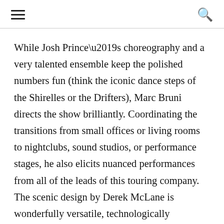[hamburger menu] [search icon]
While Josh Prince’s choreography and a very talented ensemble keep the polished numbers fun (think the iconic dance steps of the Shirelles or the Drifters), Marc Bruni directs the show brilliantly. Coordinating the transitions from small offices or living rooms to nightclubs, sound studios, or performance stages, he also elicits nuanced performances from all of the leads of this touring company. The scenic design by Derek McLane is wonderfully versatile, technologically astounding, and always supportive of the tone for each setting. Costume designs by Alejo Vietti shifted the ensemble nimbly from the ’50s through the ’70s, with memorable moments of magic such as the Shirelles’ or